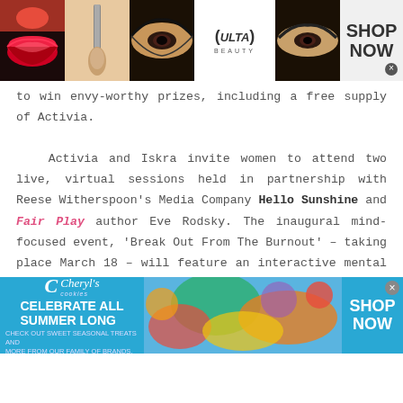[Figure (screenshot): Ulta Beauty advertisement banner with makeup photos (lips, brush, eye), Ulta logo, and SHOP NOW button]
to win envy-worthy prizes, including a free supply of Activia.
Activia and Iskra invite women to attend two live, virtual sessions held in partnership with Reese Witherspoon's Media Company Hello Sunshine and Fair Play author Eve Rodsky. The inaugural mind-focused event, 'Break Out From The Burnout' – taking place March 18 – will feature an interactive mental health workshop offering practices and resources to help alleviate stress (register here). In the coming
[Figure (screenshot): Cheryl's Cookies advertisement banner: CELEBRATE ALL SUMMER LONG with food images and SHOP NOW button]